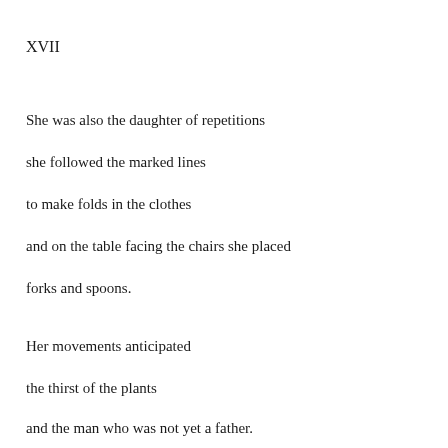XVII
She was also the daughter of repetitions
she followed the marked lines
to make folds in the clothes
and on the table facing the chairs she placed
forks and spoons.
Her movements anticipated
the thirst of the plants
and the man who was not yet a father.
They danced together.